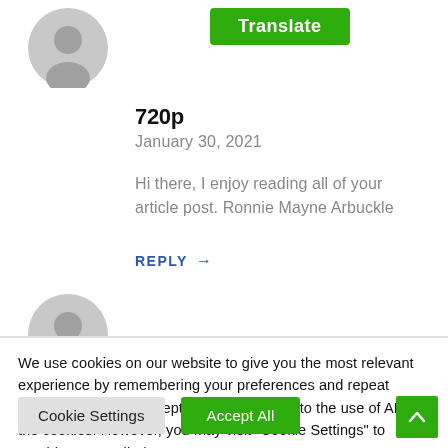[Figure (illustration): Gray circular user avatar icon]
[Figure (screenshot): Green Translate button]
720p
January 30, 2021
Hi there, I enjoy reading all of your article post. Ronnie Mayne Arbuckle
REPLY →
[Figure (illustration): Second gray circular user avatar icon (partially visible)]
We use cookies on our website to give you the most relevant experience by remembering your preferences and repeat visits. By clicking "Accept All", you consent to the use of ALL the cookies. However, you may visit "Cookie Settings" to provide a controlled consent.